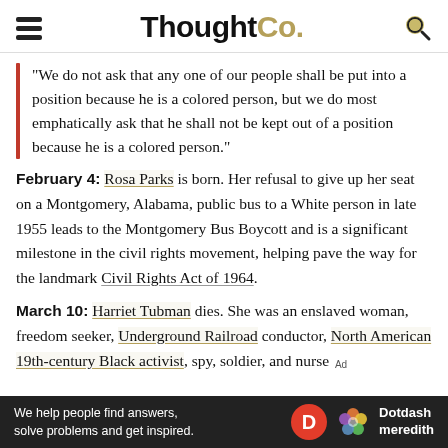ThoughtCo.
"We do not ask that any one of our people shall be put into a position because he is a colored person, but we do most emphatically ask that he shall not be kept out of a position because he is a colored person."
February 4: Rosa Parks is born. Her refusal to give up her seat on a Montgomery, Alabama, public bus to a White person in late 1955 leads to the Montgomery Bus Boycott and is a significant milestone in the civil rights movement, helping pave the way for the landmark Civil Rights Act of 1964.
March 10: Harriet Tubman dies. She was an enslaved woman, freedom seeker, Underground Railroad conductor, North American 19th-century Black activist, spy, soldier, and nurse
[Figure (logo): Dotdash Meredith advertisement banner: 'We help people find answers, solve problems and get inspired.' with Dotdash Meredith logo.]